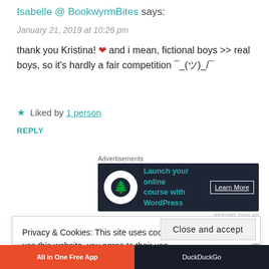Isabelle @ BookwyrmBites says:
January 21, 2019 at 10:26 pm
thank you Kristina! ❤ and i mean, fictional boys >> real boys, so it's hardly a fair competition ¯_(ツ)_/¯
★ Liked by 1 person
REPLY
Advertisements
[Figure (screenshot): Advertisement banner: dark background with circle icon, 'Launch your online course with WordPress', Learn More button]
REPORT THIS AD
Privacy & Cookies: This site uses cookies. By continuing to use this website, you agree to their use.
To find out more, including how to control cookies, see here: Cookie Policy
Close and accept